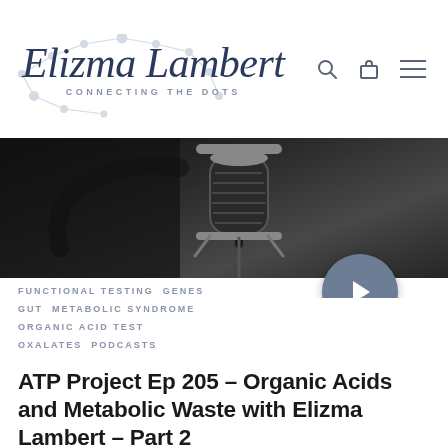Elizma Lambert — CONNECTING THE DOTS
[Figure (photo): Close-up photo of a studio microphone in dark/moody lighting, with a circular play button overlay in the bottom-right corner]
FUNCTIONAL TESTING  GENES  GUT  METABOLIC SYNDROME  ORGANIC ACID TEST  OXALATES  PODCASTS
ATP Project Ep 205 – Organic Acids and Metabolic Waste with Elizma Lambert – Part 2
ATP SCIENCE podcast 1:  Part 2   In today's episode of the ATP Project, Matt and Steve chat with naturopath